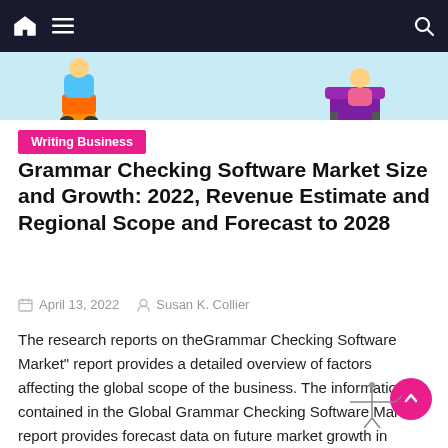Navigation bar with home, menu, and search icons
[Figure (illustration): Hero image strip showing cartoon figures/people in colorful clothing against a light blue background]
Writing Business
Grammar Checking Software Market Size and Growth: 2022, Revenue Estimate and Regional Scope and Forecast to 2028
April 13, 2022   Susan K. Collier
The research reports on theGrammar Checking Software Market" report provides a detailed overview of factors affecting the global scope of the business. The information contained in the Global Grammar Checking Software Market report provides forecast data on future market growth in global demand and supply. The report initially provides a basic overview of the segments, [...]